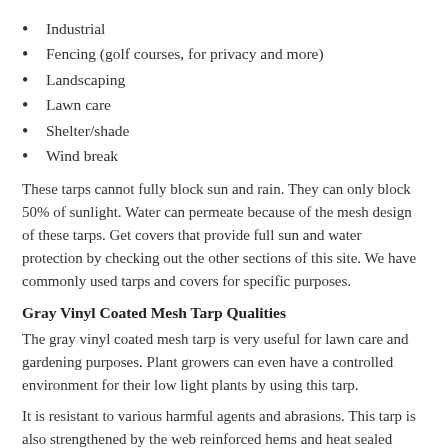Industrial
Fencing (golf courses, for privacy and more)
Landscaping
Lawn care
Shelter/shade
Wind break
These tarps cannot fully block sun and rain. They can only block 50% of sunlight. Water can permeate because of the mesh design of these tarps. Get covers that provide full sun and water protection by checking out the other sections of this site. We have commonly used tarps and covers for specific purposes.
Gray Vinyl Coated Mesh Tarp Qualities
The gray vinyl coated mesh tarp is very useful for lawn care and gardening purposes. Plant growers can even have a controlled environment for their low light plants by using this tarp.
It is resistant to various harmful agents and abrasions. This tarp is also strengthened by the web reinforced hems and heat sealed seams. The gray vinyl coated mesh tarp can also resist grease and oil which makes it practical for works and projects